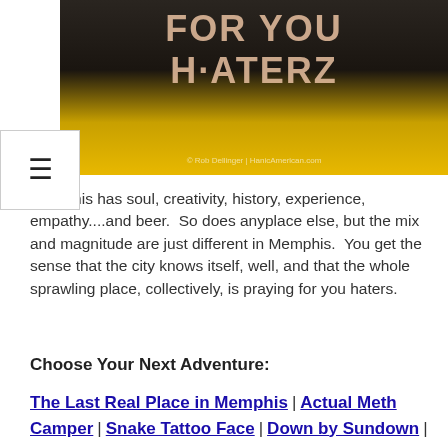[Figure (photo): Photo of a yellow car with text graphic reading 'FOR YOU HATERZ' on the rear window, with a fist graphic. Watermark: © Rob Dellinger | HanicAmerican.com]
Memphis has soul, creativity, history, experience, empathy....and beer.  So does anyplace else, but the mix and magnitude are just different in Memphis.  You get the sense that the city knows itself, well, and that the whole sprawling place, collectively, is praying for you haters.
Choose Your Next Adventure:
The Last Real Place in Memphis | Actual Meth Camper | Snake Tattoo Face | Down by Sundown |